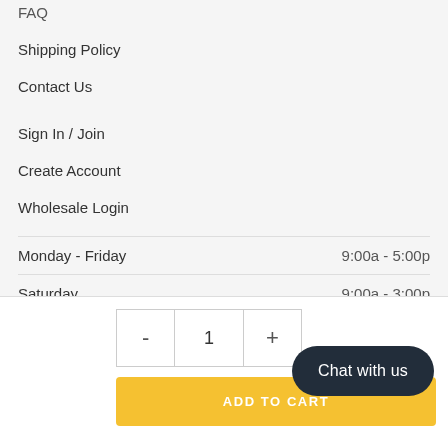FAQ
Shipping Policy
Contact Us
Sign In / Join
Create Account
Wholesale Login
| Day | Hours |
| --- | --- |
| Monday - Friday | 9:00a - 5:00p |
| Saturday | 9:00a - 3:00p |
| Sunday | CLOSED |
[Figure (other): Quantity selector with minus button, value 1, and plus button, followed by ADD TO CART yellow button and a Chat with us dark pill button]